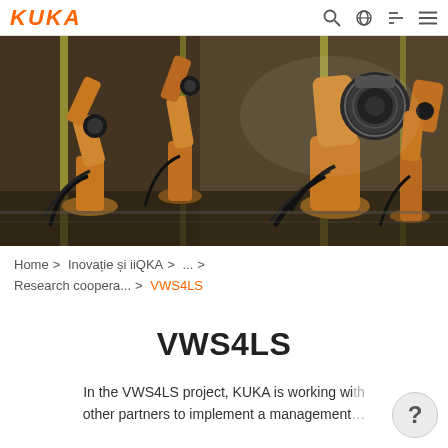KUKA
[Figure (photo): Industrial robots (orange KUKA robotic arms) working in a factory/automotive manufacturing environment, with many robotic arms visible on a production line.]
Home > Inovație și iiQKA > ... > Research coopera... > VWS4LS
VWS4LS
In the VWS4LS project, KUKA is working wi other partners to implement a management